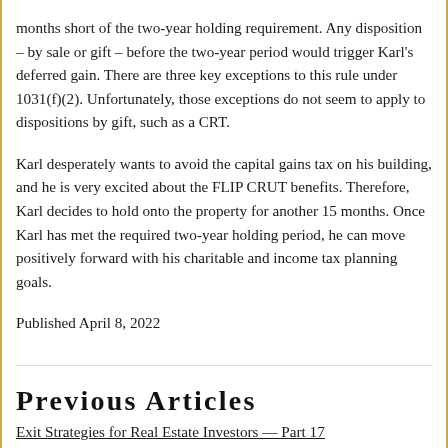months short of the two-year holding requirement. Any disposition – by sale or gift – before the two-year period would trigger Karl's deferred gain. There are three key exceptions to this rule under 1031(f)(2). Unfortunately, those exceptions do not seem to apply to dispositions by gift, such as a CRT.
Karl desperately wants to avoid the capital gains tax on his building, and he is very excited about the FLIP CRUT benefits. Therefore, Karl decides to hold onto the property for another 15 months. Once Karl has met the required two-year holding period, he can move positively forward with his charitable and income tax planning goals.
Published April 8, 2022
Previous Articles
Exit Strategies for Real Estate Investors — Part 17